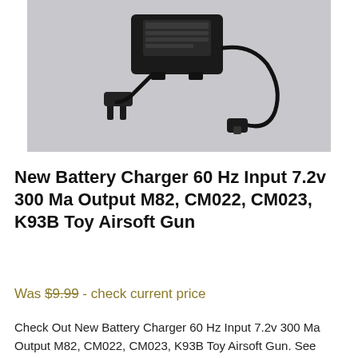[Figure (photo): Photo of a black battery charger/power adapter with a cord and connector plug, against a light gray background.]
New Battery Charger 60 Hz Input 7.2v 300 Ma Output M82, CM022, CM023, K93B Toy Airsoft Gun
Was $9.99 - check current price
Check Out New Battery Charger 60 Hz Input 7.2v 300 Ma Output M82, CM022, CM023, K93B Toy Airsoft Gun. See Great Airsoft Battery Chargers